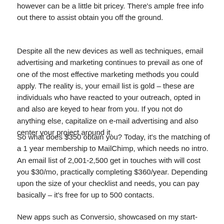however can be a little bit pricey. There's ample free info out there to assist obtain you off the ground.
Despite all the new devices as well as techniques, email advertising and marketing continues to prevail as one of one of the most effective marketing methods you could apply. The reality is, your email list is gold – these are individuals who have reacted to your outreach, opted in and also are keyed to hear from you. If you not do anything else, capitalize on e-mail advertising and also center your project around it.
So what does $350 obtain you? Today, it's the matching of a 1 year membership to MailChimp, which needs no intro. An email list of 2,001-2,500 get in touches with will cost you $30/mo, practically completing $360/year. Depending upon the size of your checklist and needs, you can pay basically – it's free for up to 500 contacts.
New apps such as Conversio, showcased on my start-up's